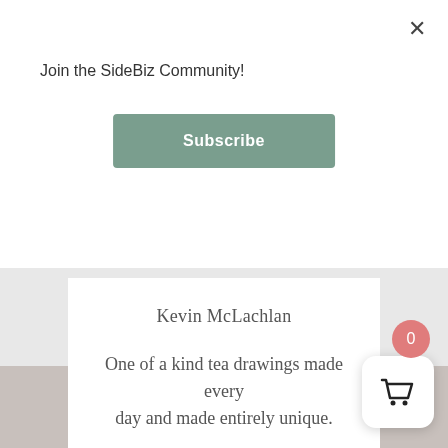Join the SideBiz Community!
Subscribe
Kevin McLachlan
One of a kind tea drawings made every day and made entirely unique.
Shop Koovs Tea Doodles
0
[Figure (screenshot): Shopping cart icon button with badge showing 0]